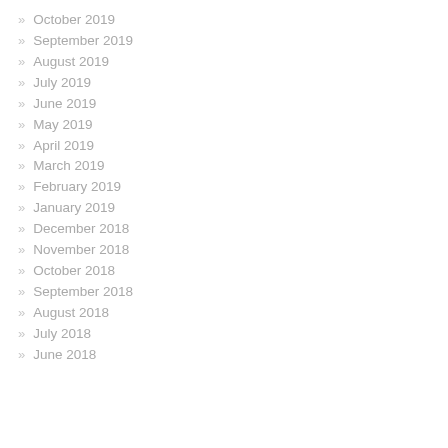October 2019
September 2019
August 2019
July 2019
June 2019
May 2019
April 2019
March 2019
February 2019
January 2019
December 2018
November 2018
October 2018
September 2018
August 2018
July 2018
June 2018